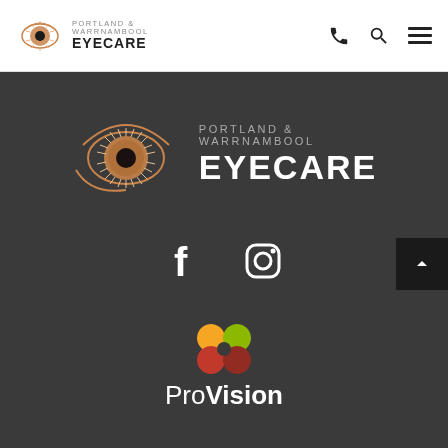PORTLAND & WARRNAMBOOL EYECARE
[Figure (logo): Portland & Warrnambool Eyecare eye logo with text on dark background]
[Figure (logo): Facebook and Instagram social media icons]
[Figure (logo): ProVision partner logo with butterfly/flower icon in orange, yellow, red colors]